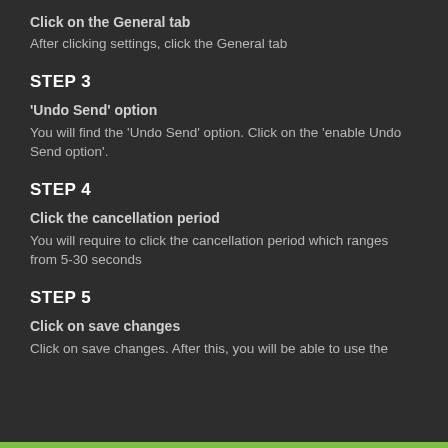Click on the General tab
After clicking settings, click the General tab
STEP 3
'Undo Send' option
You will find the 'Undo Send' option. Click on the 'enable Undo Send option'.
STEP 4
Click the cancellation period
You will require to click the cancellation period which ranges from 5-30 seconds
STEP 5
Click on save changes
Click on save changes. After this, you will be able to use the